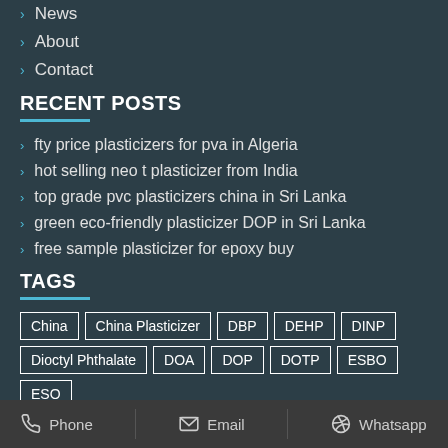News
About
Contact
RECENT POSTS
fty price plasticizers for pva in Algeria
hot selling neo t plasticizer from India
top grade pvc plasticizers china in Sri Lanka
green eco-friendly plasticizer DOP in Sri Lanka
free sample plasticizer for epoxy buy
TAGS
China | China Plasticizer | DBP | DEHP | DINP | Dioctyl Phthalate | DOA | DOP | DOTP | ESBO | ESO | India | MOQ | Morocco | Plasticizer Dop | PVC | Russia
Phone | Email | Whatsapp